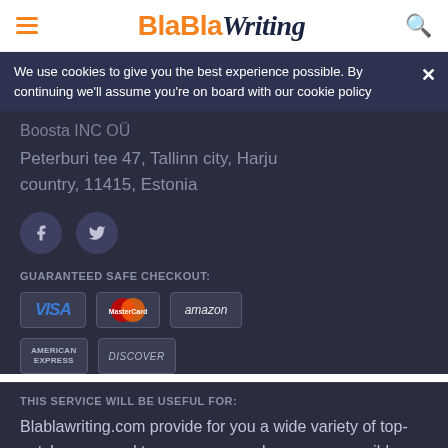BlaBlaWriting
We use cookies to give you the best experience possible. By continuing we'll assume you're on board with our cookie policy
Boosta INC OÜ
Peterburi tee 47, Tallinn city, Harju country, 11415, Estonia
[Figure (illustration): Social media icons: Facebook and Twitter circles]
GUARANTEED SAFE CHECKOUT:
[Figure (illustration): Payment method badges: VISA, Mastercard, amazon, American Express, Discover]
THIS SERVICE WILL BE USEFUL FOR:
Blablawriting.com provide for you a wide variety of top-notch essay and term paper samples on any possible topics absolutely. Want to